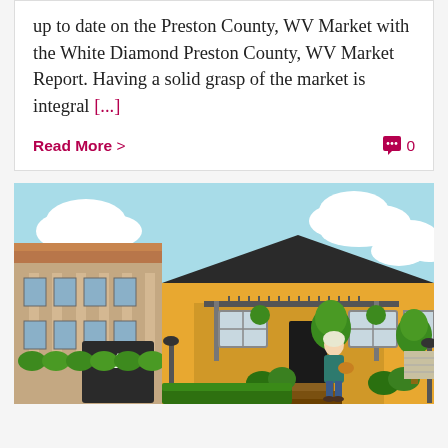up to date on the Preston County, WV Market with the White Diamond Preston County, WV Market Report. Having a solid grasp of the market is integral [...]
Read More >
0
[Figure (illustration): Illustrated suburban street scene showing two houses — a tan multi-story building on the left and a yellow single-story house on the right — with a woman walking down steps, trees, bushes, and a light blue sky with white clouds.]